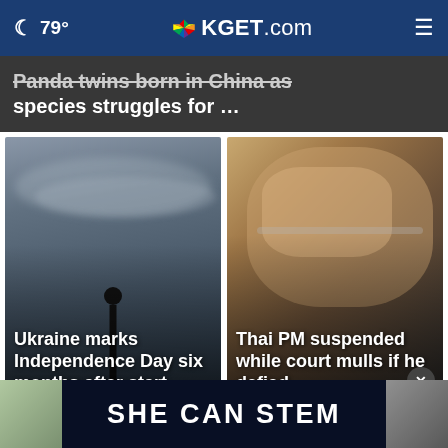🌙 79° | KGET.com | ☰
Panda twins born in China as species struggles for ...
[Figure (photo): Silhouette of statue against dramatic cloudy sky — Ukraine Independence Day photo]
Ukraine marks Independence Day six months after start ...
[Figure (photo): Thai Prime Minister wearing glasses, seated — headshot photo]
Thai PM suspended while court mulls if he defied ...
[Figure (infographic): SHE CAN STEM advertisement banner on dark background]